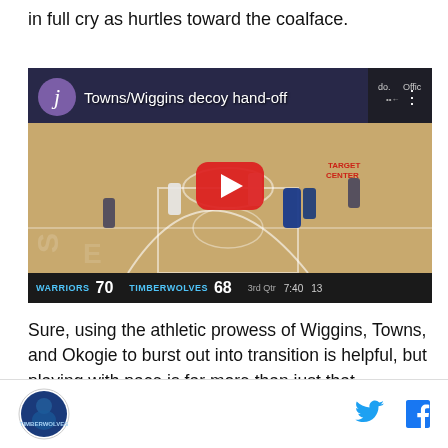in full cry as hurtles toward the coalface.
[Figure (screenshot): YouTube video thumbnail showing basketball game between Warriors and Timberwolves. Title reads 'Towns/Wiggins decoy hand-off'. Score: Warriors 70, Timberwolves 68, 3rd Qtr, 7:40, 13.]
Sure, using the athletic prowess of Wiggins, Towns, and Okogie to burst out into transition is helpful, but playing with pace is far more than just that. According